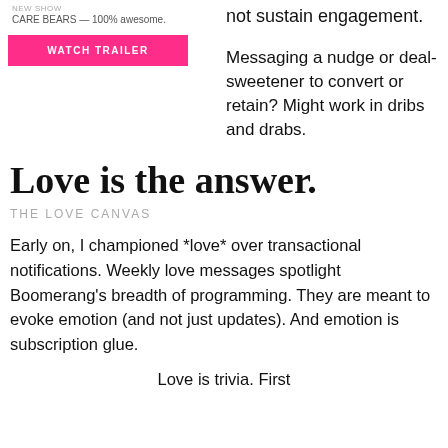[Figure (screenshot): Screenshot of a streaming service UI showing a Care Bears show card with a pink 'WATCH TRAILER' button. Text reads 'CARE BEARS — 100% awesome.']
not sustain engagement.
Messaging a nudge or deal-sweetener to convert or retain? Might work in dribs and drabs.
Love is the answer.
THE LOVE CANVAS
Early on, I championed *love* over transactional notifications. Weekly love messages spotlight Boomerang's breadth of programming. They are meant to evoke emotion (and not just updates). And emotion is subscription glue.
Love is trivia. First